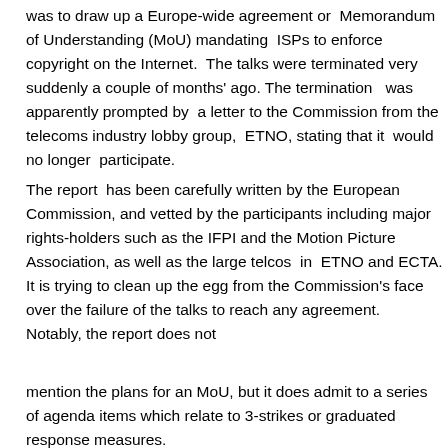was to draw up a Europe-wide agreement or Memorandum of Understanding (MoU) mandating ISPs to enforce copyright on the Internet. The talks were terminated very suddenly a couple of months' ago. The termination was apparently prompted by a letter to the Commission from the telecoms industry lobby group, ETNO, stating that it would no longer participate.
The report has been carefully written by the European Commission, and vetted by the participants including major rights-holders such as the IFPI and the Motion Picture Association, as well as the large telcos in ETNO and ECTA. It is trying to clean up the egg from the Commission's face over the failure of the talks to reach any agreement. Notably, the report does not
mention the plans for an MoU, but it does admit to a series of agenda items which relate to 3-strikes or graduated response measures.